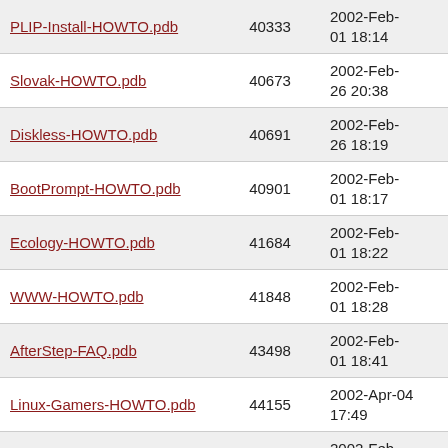| PLIP-Install-HOWTO.pdb | 40333 | 2002-Feb-01 18:14 |
| Slovak-HOWTO.pdb | 40673 | 2002-Feb-26 20:38 |
| Diskless-HOWTO.pdb | 40691 | 2002-Feb-26 18:19 |
| BootPrompt-HOWTO.pdb | 40901 | 2002-Feb-01 18:17 |
| Ecology-HOWTO.pdb | 41684 | 2002-Feb-01 18:22 |
| WWW-HOWTO.pdb | 41848 | 2002-Feb-01 18:28 |
| AfterStep-FAQ.pdb | 43498 | 2002-Feb-01 18:41 |
| Linux-Gamers-HOWTO.pdb | 44155 | 2002-Apr-04 17:49 |
| IPCHAINS-HOWTO.pdb | 45349 | 2002-Feb-01 18:25 |
| DB2-HOWTO.pdb | 45543 | 2002-Feb-01 18:19 |
| VAR-HOWTO.pdb | 45952 | 2002-Feb-01 18:28 |
| Software-RAID-0.4x- |  | 2002-Feb- |